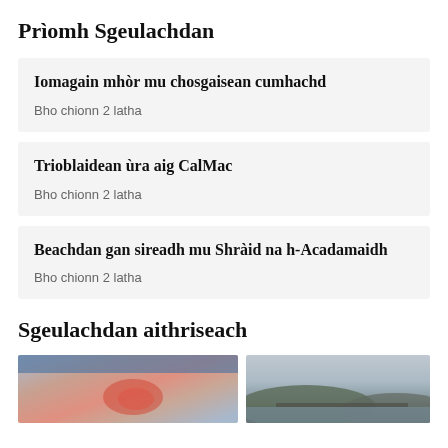Prìomh Sgeulachdan
Iomagain mhòr mu chosgaisean cumhachd
Bho chionn 2 latha
Trioblaidean ùra aig CalMac
Bho chionn 2 latha
Beachdan gan sireadh mu Shràid na h-Acadamaidh
Bho chionn 2 latha
Sgeulachdan aithriseach
[Figure (photo): Close-up photo of a reddish skin rash or insect bite on an arm, with a blue garment visible.]
[Figure (photo): Landscape photo showing a road or bridge over water with hills in the background under a cloudy sky.]